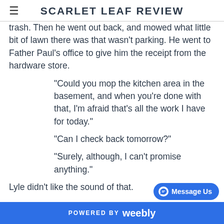SCARLET LEAF REVIEW
trash. Then he went out back, and mowed what little bit of lawn there was that wasn't parking. He went to Father Paul's office to give him the receipt from the hardware store.
“Could you mop the kitchen area in the basement, and when you're done with that, I'm afraid that's all the work I have for today.”
“Can I check back tomorrow?”
“Surely, although, I can't promise anything.”
Lyle didn't like the sound of that.

The following morning was raining and cool; the fog rolled across the graveyard as he stood looking down at the headstone. He couldn't read the headstone, and then, it would momentarily clear, and he saw “Ernest Filton, 1966–2015. RIP.” before the fog obs
POWERED BY weebly